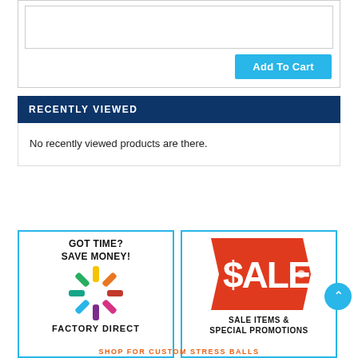[Figure (screenshot): Text area input box (empty) within a bordered section]
[Figure (screenshot): Add To Cart button in cyan/blue]
RECENTLY VIEWED
No recently viewed products are there.
[Figure (infographic): GOT TIME? SAVE MONEY! banner with colorful USB drives arranged in a circle and text FACTORY DIRECT at the bottom]
[Figure (infographic): $ALE price tag graphic in red/orange with text SALE ITEMS & SPECIAL PROMOTIONS]
SHOP FOR CUSTOM STRESS BALLS